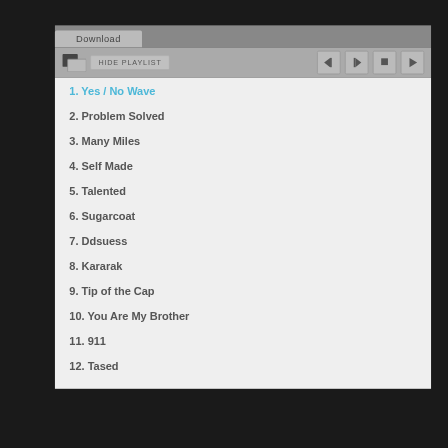1. Yes / No Wave
2. Problem Solved
3. Many Miles
4. Self Made
5. Talented
6. Sugarcoat
7. Ddsuess
8. Kararak
9. Tip of the Cap
10. You Are My Brother
11. 911
12. Tased